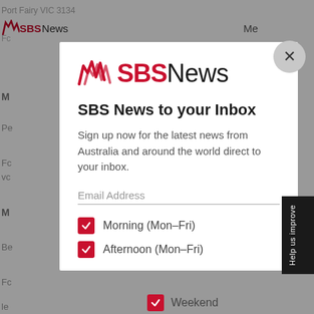[Figure (screenshot): SBS News website background with partially visible navigation and article text]
[Figure (logo): SBS News logo with red waves and bold SBS text followed by News in regular weight]
SBS News to your Inbox
Sign up now for the latest news from Australia and around the world direct to your inbox.
Email Address
Morning (Mon–Fri)
Afternoon (Mon–Fri)
Weekend